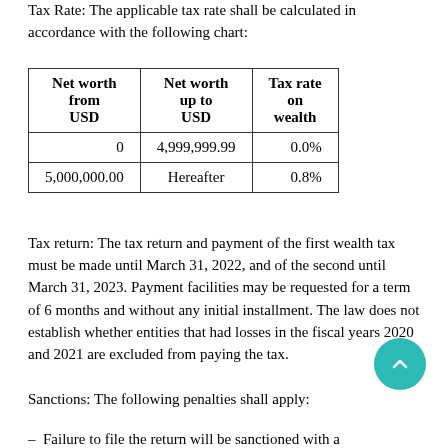Tax Rate: The applicable tax rate shall be calculated in accordance with the following chart:
| Net worth from USD | Net worth up to USD | Tax rate on wealth |
| --- | --- | --- |
| 0 | 4,999,999.99 | 0.0% |
| 5,000,000.00 | Hereafter | 0.8% |
Tax return: The tax return and payment of the first wealth tax must be made until March 31, 2022, and of the second until March 31, 2023. Payment facilities may be requested for a term of 6 months and without any initial installment. The law does not establish whether entities that had losses in the fiscal years 2020 and 2021 are excluded from paying the tax.
Sanctions: The following penalties shall apply:
– Failure to file the return will be sanctioned with a